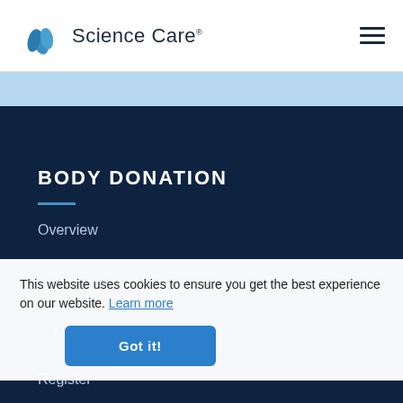[Figure (logo): Science Care logo with blue leaf icon and text 'Science Care']
BODY DONATION
Overview
This website uses cookies to ensure you get the best experience on our website. Learn more
Your wishes
Medical research
Register